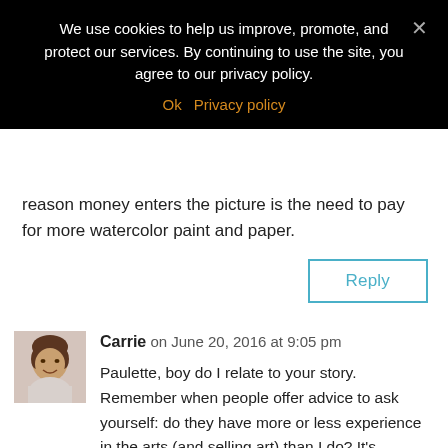We use cookies to help us improve, promote, and protect our services. By continuing to use the site, you agree to our privacy policy.
Ok  Privacy policy
reason money enters the picture is the need to pay for more watercolor paint and paper.
Reply
Carrie on June 20, 2016 at 9:05 pm
Paulette, boy do I relate to your story. Remember when people offer advice to ask yourself: do they have more or less experience in the arts (and selling art) than I do? It's amazing to be me how many feel license to give us advice on an art business with little to no experience in